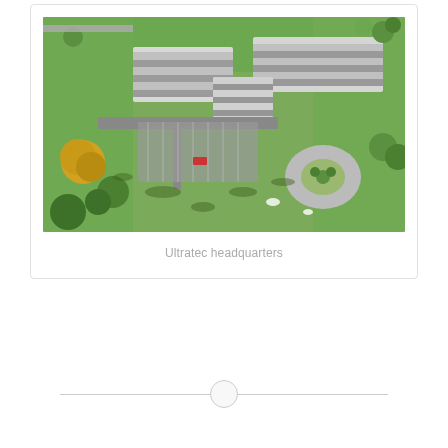[Figure (photo): Aerial drone photograph of Ultratec headquarters building complex — a large multi-wing modern office building with white/grey exterior, surrounded by green lawns, parking areas, roads with a roundabout, and trees with autumn foliage.]
Ultratec headquarters